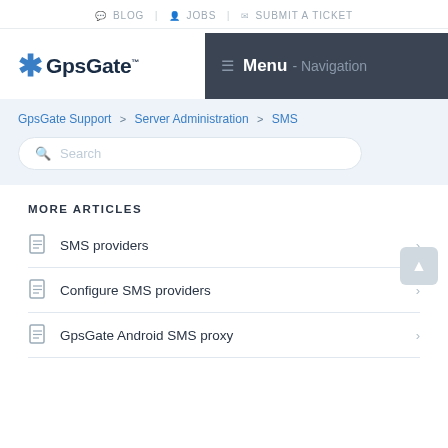BLOG | JOBS | SUBMIT A TICKET
[Figure (logo): GpsGate logo with snowflake icon and navigation menu bar]
GpsGate Support > Server Administration > SMS
Search
MORE ARTICLES
SMS providers
Configure SMS providers
GpsGate Android SMS proxy